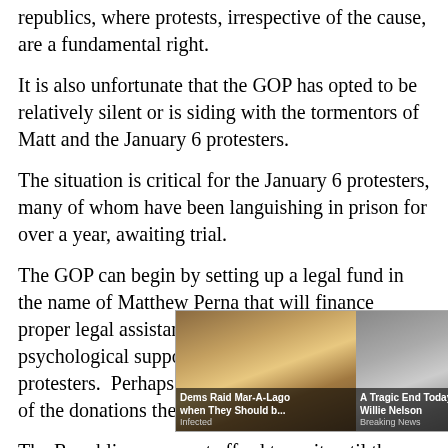republics, where protests, irrespective of the cause, are a fundamental right.
It is also unfortunate that the GOP has opted to be relatively silent or is siding with the tormentors of Matt and the January 6 protesters.
The situation is critical for the January 6 protesters, many of whom have been languishing in prison for over a year, awaiting trial.
The GOP can begin by setting up a legal fund in the name of Matthew Perna that will finance proper legal assistance along with medical and psychological support for all the January 6 protesters.  Perhaps they can donate a percentage of the donations they receive.
The Republicans cannot afford to wait until they win the midterm... ay be many mo... GOP needs to... nfairly jailed. A... talking about thi...
[Figure (screenshot): Two advertisement overlays: left shows 'Dems Raid Mar-A-Lago when They Should b...' with tag 'Infected'; right shows 'A Tragic End Today For Willie Nelson' with tag 'Breaking News'. A close button (x) is in the upper right.]